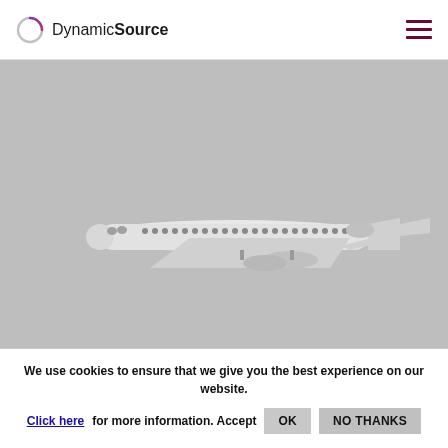DynamicSource [logo + hamburger menu]
[Figure (photo): A white commercial regional jet aircraft (CRJ-type) flying against a gray overcast sky background.]
We use cookies to ensure that we give you the best experience on our website. Click here for more information. Accept OK NO THANKS